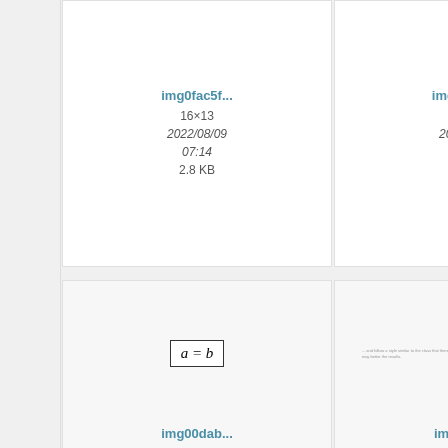[Figure (screenshot): File thumbnail: img0fac5f... 16×13, 2022/08/09 07:14, 2.8 KB]
[Figure (screenshot): File thumbnail: img0fe167... 10×9, 2022/08/08 13:16, 2.9 KB]
[Figure (screenshot): Partially visible third thumbnail in row 1]
[Figure (screenshot): File thumbnail: img00dab... formula a=b, 54×25, 2022/08/08 13:30, 3 KB]
[Figure (screenshot): File thumbnail: img00141... small text preview, 620×38, 2022/08/21 06:20, 5.6 KB]
[Figure (screenshot): Partially visible third thumbnail in row 2]
[Figure (screenshot): File thumbnail: img0095a... text document preview]
[Figure (screenshot): File thumbnail: img01395... Lorem ipsum text]
[Figure (screenshot): Partially visible third thumbnail in row 3]
img0fac5...
16×13
2022/08/09 07:14
2.8 KB
img0fe167...
10×9
2022/08/08 13:16
2.9 KB
img00dab...
54×25
2022/08/08 13:30
3 KB
img00141...
620×38
2022/08/21 06:20
5.6 KB
img0095a...
img01395...